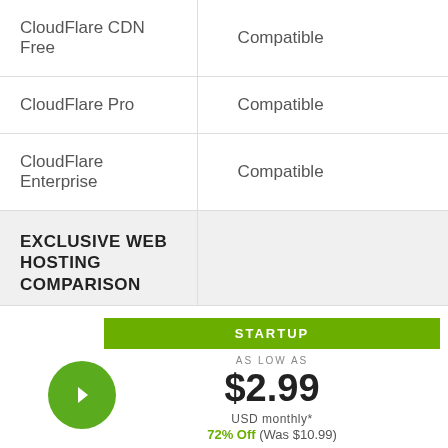| CloudFlare CDN Free | Compatible |
| CloudFlare Pro | Compatible |
| CloudFlare Enterprise | Compatible |
| EXCLUSIVE WEB HOSTING COMPARISON |  |
STARTUP
AS LOW AS
$2.99
USD monthly*
72% Off (Was $10.99)
GET STARTUP